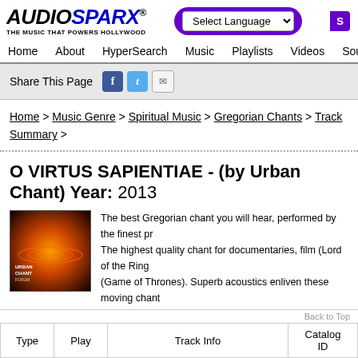AUDIO SPARX - THE MUSIC THAT POWERS HOLLYWOOD | Select Language | [Search]
Home | About | HyperSearch | Music | Playlists | Videos | Sound
Share This Page [Facebook] [Twitter] [Email]
Home > Music Genre > Spiritual Music > Gregorian Chants > Track Summary >
O VIRTUS SAPIENTIAE - (by Urban Chant) Year: 2013
The best Gregorian chant you will hear, performed by the finest pr... The highest quality chant for documentaries, film (Lord of the Ring... (Game of Thrones). Superb acoustics enliven these moving chant... Road engineer. Mixed Vocals, Spiritual, Gregorian Chants
| Type | Play | Track Info | Catalog ID |
| --- | --- | --- | --- |